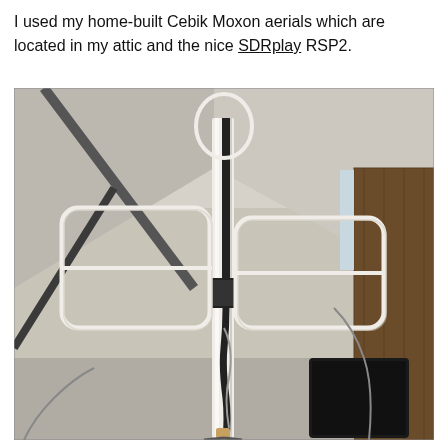I used my home-built Cebik Moxon aerials which are located in my attic and the nice SDRplay RSP2.
[Figure (photo): A home-built Cebik Moxon antenna (two rectangular wire loops arranged like a butterfly/bowtie) mounted on a white vertical pole in an attic space. The attic has sloped ceiling beams visible, with cables hanging down. A dark wooden shelf or furniture is visible in the background on the right. A black device is visible at the bottom of the pole.]